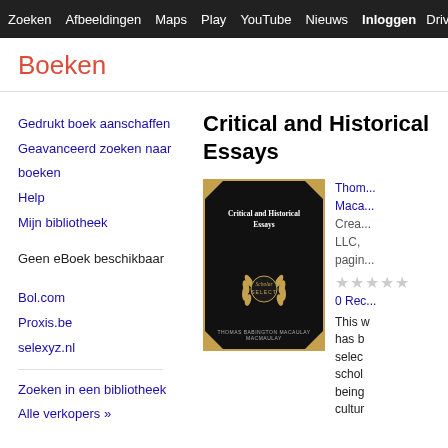Zoeken  Afbeeldingen  Maps  Play  YouTube  Nieuws  Inloggen  Drive  ⚙  M
Boeken
Critical and Historical Essays
[Figure (photo): Book cover of 'Critical and Historical Essays' by Thomas Babington Macaulay Macmaulay. Black cover with gold corner accents, white title text, and a Scholar Select emblem in gold.]
Thomas Babington Macaulay Macmaulay
CreatSpace LLC, pagina's
★★
0 Recensies
This work has been selected, schol being cultur
Gedrukt boek aanschaffen
Geavanceerd zoeken naar boeken
Help
Mijn bibliotheek
Geen eBoek beschikbaar
Bol.com
Proxis.be
selexyz.nl
Zoeken in een bibliotheek
Alle verkopers »